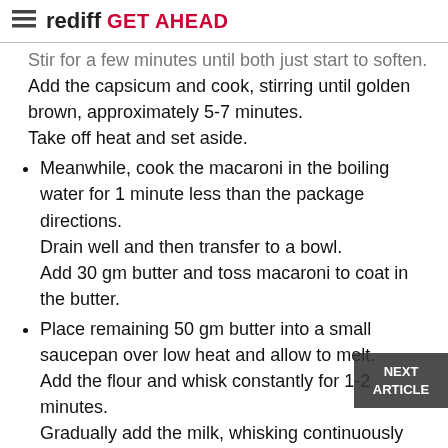rediff GET AHEAD
Stir for a few minutes until both just start to soften. Add the capsicum and cook, stirring until golden brown, approximately 5-7 minutes. Take off heat and set aside.
Meanwhile, cook the macaroni in the boiling water for 1 minute less than the package directions. Drain well and then transfer to a bowl. Add 30 gm butter and toss macaroni to coat in the butter.
Place remaining 50 gm butter into a small saucepan over low heat and allow to melt. Add the flour and whisk constantly for 1-2 minutes. Gradually add the milk, whisking continuously until thickened. Add the tomato, paprika, cumin, saffron and whisk until combined. Add 2 tbsp of the capsicum mixture and a few pieces chorizos. Mix and season to taste. Take off heat. Combine the sauce and macaroni until evenly